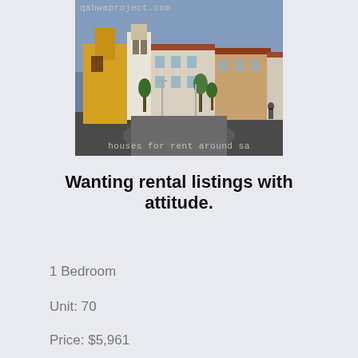[Figure (photo): Exterior photo of a residential apartment complex with Mediterranean-style architecture, showing a roundabout driveway with landscaping. Watermarks: 'qahwaproject.com' at top and 'houses for rent around sa' at bottom.]
Wanting rental listings with attitude.
1 Bedroom
Unit: 70
Price: $5,961
Sq ft: 2643